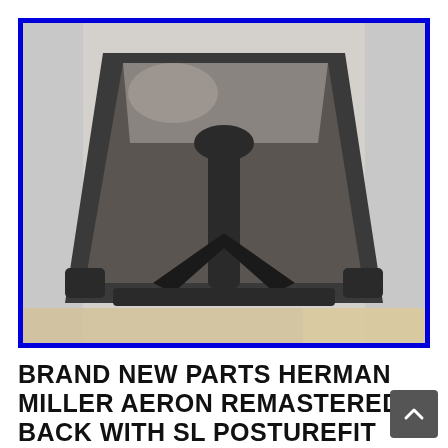[Figure (photo): Photograph of a Herman Miller Aeron chair back component (remastered back with SL PostureFit), shown from the front. The part is dark gray/black plastic with a trapezoid shape and visible structural spine running vertically. The image has a bright blue border. Background is light/white inside the bordered frame.]
BRAND NEW PARTS HERMAN MILLER AERON REMASTERED BACK WITH SL POSTUREFIT SIZE